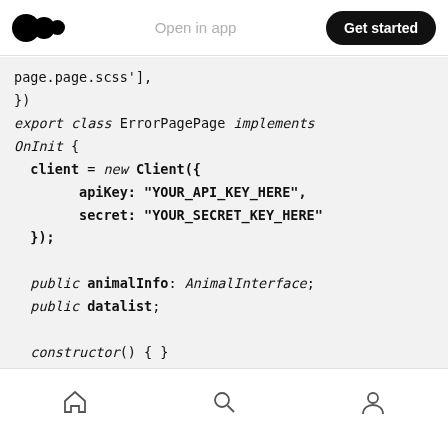Medium app header — Open in app | Get started
page.page.scss'],
})
export class ErrorPagePage implements
OnInit {
  client = new Client({
        apiKey: "YOUR_API_KEY_HERE",
        secret: "YOUR_SECRET_KEY_HERE"
  });

  public animalInfo: AnimalInterface;
  public datalist;

  constructor() { }

  ngOnInit() {
    this.client.animal.search()
          .then( (response) => {
                this.datalist =
Bottom navigation bar